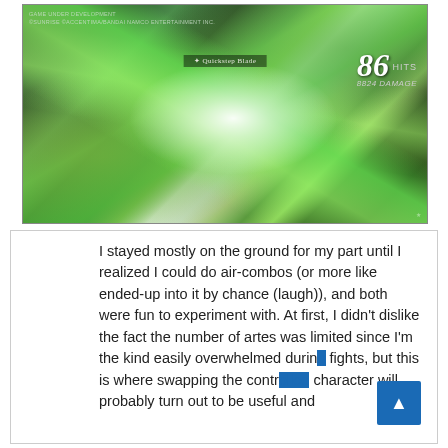[Figure (screenshot): Video game screenshot showing a combat scene with green laser/energy beams and glowing effects. A counter in the upper right shows '86 HITS' and '8824 DAMAGE'. Small text in upper left reads development/copyright info. A center bar shows 'Quickstep Blade'. The scene features characters fighting with bright white light at center and green energy trails.]
I stayed mostly on the ground for my part until I realized I could do air-combos (or more like ended-up into it by chance (laugh)), and both were fun to experiment with. At first, I didn't dislike the fact the number of artes was limited since I'm the kind easily overwhelmed during fights, but this is where swapping the controlled character will probably turn out to be useful and